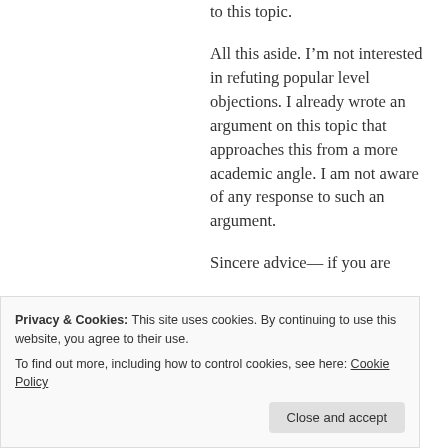to this topic.
All this aside. I'm not interested in refuting popular level objections. I already wrote an argument on this topic that approaches this from a more academic angle. I am not aware of any response to such an argument.
Sincere advice— if you are
Privacy & Cookies: This site uses cookies. By continuing to use this website, you agree to their use.
To find out more, including how to control cookies, see here: Cookie Policy
Close and accept
literature, or go to someone